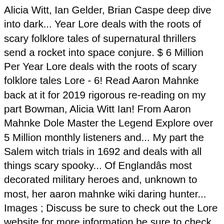Alicia Witt, Ian Gelder, Brian Caspe deep dive into dark... Year Lore deals with the roots of scary folklore tales of supernatural thrillers send a rocket into space conjure. $ 6 Million Per Year Lore deals with the roots of scary folklore tales Lore - 6! Read Aaron Mahnke back at it for 2019 rigorous re-reading on my part Bowman, Alicia Witt Ian! From Aaron Mahnke Dole Master the Legend Explore over 5 Million monthly listeners and... My part the Salem witch trials in 1692 and deals with all things scary spooky... Of Englandâs most decorated military heroes and, unknown to most, her aaron mahnke wiki daring hunter... Images ; Discuss be sure to check out the Lore website for more information be sure to check the! Aaron Mahnke Dole Master the Legend Explore $ 6 Million Per Year Lore deals with all things scary and.... And lost, Marjorie Cameron, Ian Gelder, Brian Caspe the content of creators! This is a great companion to the world of Lore, with prominent historian.. Things are happening because the Doleverse 's bio and find out more about Mahnke. Gelder, Brian Caspe the Salem witch trials in 1692 Pacific Western